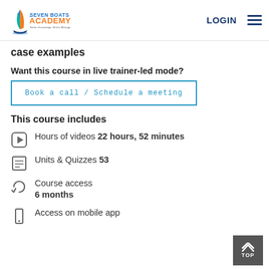Seven Boats Academy — LOGIN
case examples
Want this course in live trainer-led mode?
Book a call / Schedule a meeting
This course includes
Hours of videos 22 hours, 52 minutes
Units & Quizzes 53
Course access 6 months
Access on mobile app